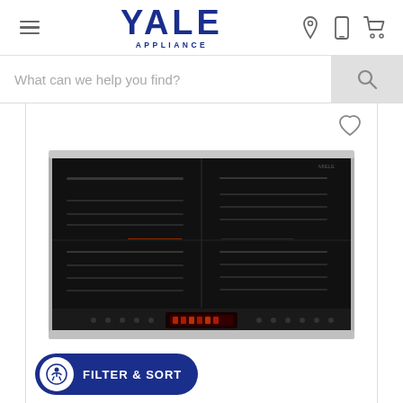[Figure (screenshot): Yale Appliance website header with hamburger menu, Yale Appliance logo in navy blue, and icons for location, phone, and cart]
[Figure (screenshot): Search bar with placeholder text 'What can we help you find?' and search button]
[Figure (photo): Black induction cooktop with multiple burner zones shown on a white product card, with a heart/wishlist icon in the top right corner]
FILTER & SORT